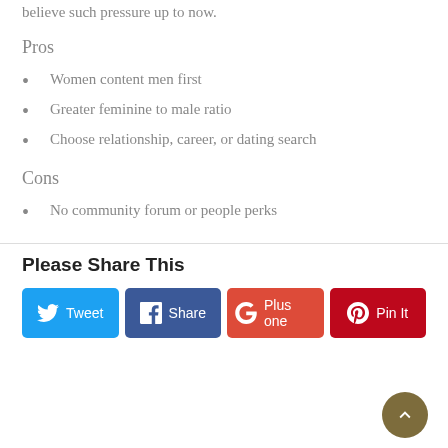believe such pressure up to now.
Pros
Women content men first
Greater feminine to male ratio
Choose relationship, career, or dating search
Cons
No community forum or people perks
Please Share This
Tweet  Share  Plus one  Pin It